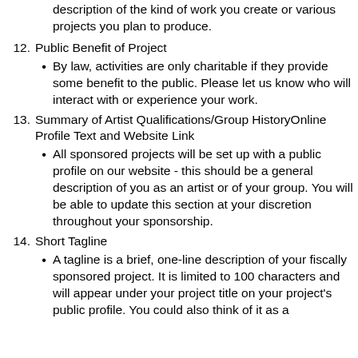continuation: description of the kind of work you create or various projects you plan to produce.
12. Public Benefit of Project
By law, activities are only charitable if they provide some benefit to the public. Please let us know who will interact with or experience your work.
13. Summary of Artist Qualifications/Group HistoryOnline Profile Text and Website Link
All sponsored projects will be set up with a public profile on our website - this should be a general description of you as an artist or of your group. You will be able to update this section at your discretion throughout your sponsorship.
14. Short Tagline
A tagline is a brief, one-line description of your fiscally sponsored project. It is limited to 100 characters and will appear under your project title on your project's public profile. You could also think of it as a...